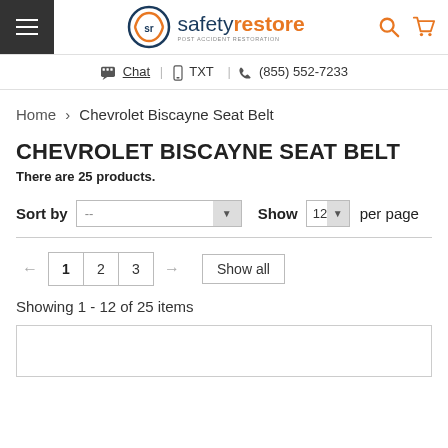safetyrestore — Chat | TXT | (855) 552-7233
Home › Chevrolet Biscayne Seat Belt
CHEVROLET BISCAYNE SEAT BELT
There are 25 products.
Sort by -- Show 12 per page
← 1 2 3 → Show all
Showing 1 - 12 of 25 items